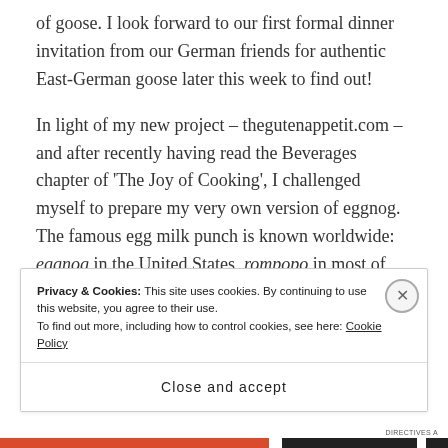of goose. I look forward to our first formal dinner invitation from our German friends for authentic East-German goose later this week to find out!
In light of my new project – thegutenappetit.com – and after recently having read the Beverages chapter of 'The Joy of Cooking', I challenged myself to prepare my very own version of eggnog. The famous egg milk punch is known worldwide: eggnog in the United States, rompopo in most of Latin America, lait de poule in France, & Eierlikör in Germany, among many others. Each region has its own distinct variety, and
Privacy & Cookies: This site uses cookies. By continuing to use this website, you agree to their use.
To find out more, including how to control cookies, see here: Cookie Policy
Close and accept